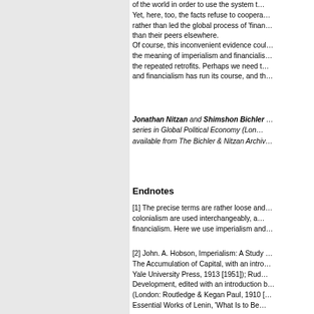of the world in order to use the system t… Yet, here, too, the facts refuse to coopera… rather than led the global process of 'finan… than their peers elsewhere.
Of course, this inconvenient evidence coul… the meaning of imperialism and financialis… the repeated retrofits. Perhaps we need t… and financialism has run its course, and th…
Jonathan Nitzan and Shimshon Bichler … series in Global Political Economy (Lon… available from The Bichler & Nitzan Archiv…
Endnotes
[1] The precise terms are rather loose and… colonialism are used interchangeably, a… financialism. Here we use imperialism and…
[2] John. A. Hobson, Imperialism: A Study … The Accumulation of Capital, with an intro… Yale University Press, 1913 [1951]); Rud… Development, edited with an introduction b… (London: Routledge & Kegan Paul, 1910 [… Essential Works of Lenin, 'What Is to Be…